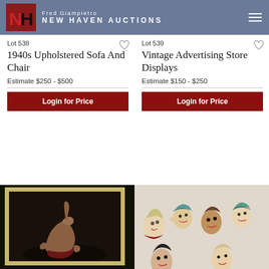Fred Giampietro NEW HAVEN AUCTIONS
Lot 538
1940s Upholstered Sofa And Chair
Estimate $250 - $500
Login for Price
Lot 539
Vintage Advertising Store Displays
Estimate $150 - $250
Login for Price
[Figure (photo): Framed painting of a reclining nude figure on dark background]
[Figure (photo): Collection of vintage ceramic female head busts/figurines with various hair styles and colors]